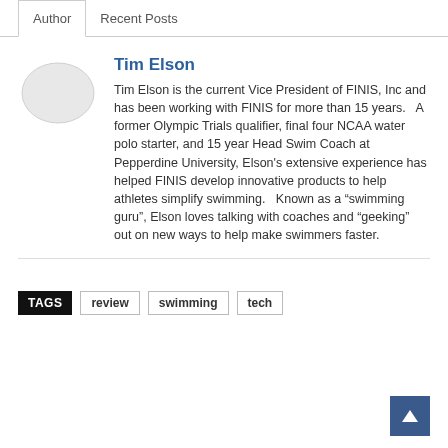Author | Recent Posts
Tim Elson
Tim Elson is the current Vice President of FINIS, Inc and has been working with FINIS for more than 15 years.   A former Olympic Trials qualifier, final four NCAA water polo starter, and 15 year Head Swim Coach at Pepperdine University, Elson’s extensive experience has helped FINIS develop innovative products to help athletes simplify swimming.   Known as a “swimming guru”, Elson loves talking with coaches and “geeking” out on new ways to help make swimmers faster.
TAGS: review  swimming  tech